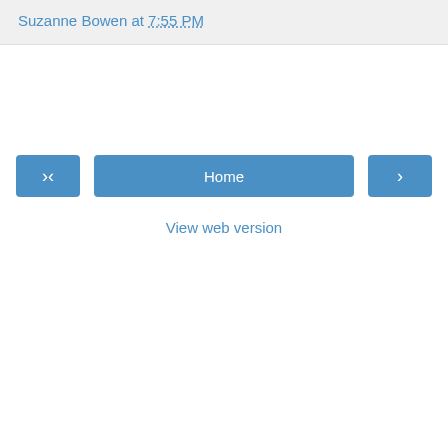Suzanne Bowen at 7:55 PM
Home
View web version